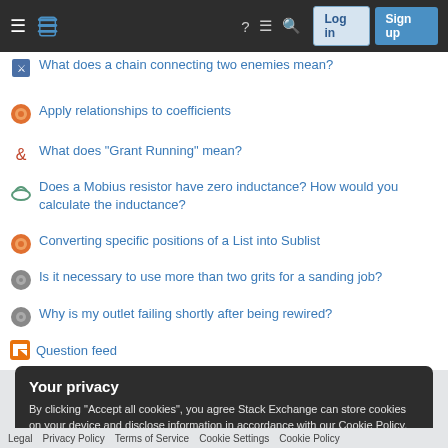Stack Exchange navigation header with Log in and Sign up buttons
What does a chain connecting two enemies mean?
Apply relationships to coefficients
What does "Grant Running" mean?
Does a Mobius resistor have zero inductance? How would you calculate the inductance?
Converting specific positions of a List into Sublist
Is it necessary to use more than two grits for a sanding job?
Why is my outlet failing shortly after being rewired?
Question feed
Your privacy
By clicking "Accept all cookies", you agree Stack Exchange can store cookies on your device and disclose information in accordance with our Cookie Policy.
Accept all cookies   Customize settings
Legal   Privacy Policy   Terms of Service   Cookie Settings   Cookie Policy